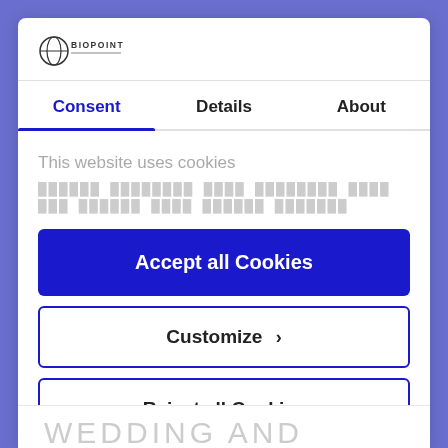[Figure (logo): Biopoint brand logo with circular icon and text BIOPOINT]
Consent	Details	About
This website uses cookies
[blurred/redacted body text]
Accept all Cookies
Customize ›
Reject all Cookies
Powered by Cookiebot by Usercentrics